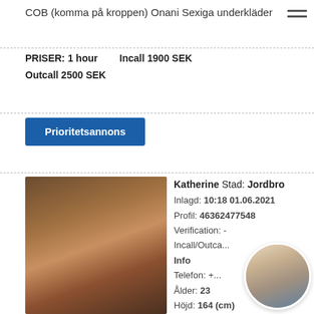COB (komma på kroppen) Onani Sexiga underkläder
PRISER: 1 hour   Incall 1900 SEK
Outcall 2500 SEK
Prioritetsannons
[Figure (photo): Photo of a woman from behind wearing a swimsuit]
Katherine Stad: Jordbro
Inlagd: 10:18 01.06.2021
Profil: 46362477548
Verification: -
Incall/Outca...
Info
Telefon: +...
Ålder: 23
Höjd: 164 (cm)
[Figure (photo): Circular cropped photo of a woman]